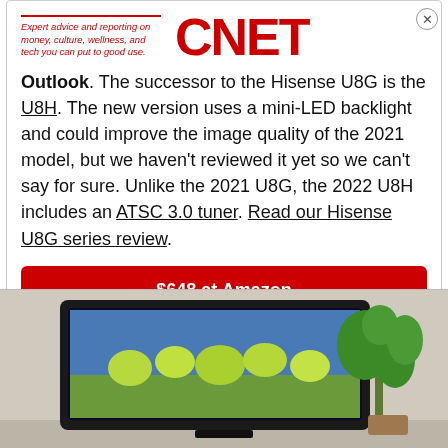[Figure (logo): CNET logo with tagline: Expert advice and reporting on money, culture, wellness, and tech you can put to good use.]
Outlook. The successor to the Hisense U8G is the U8H. The new version uses a mini-LED backlight and could improve the image quality of the 2021 model, but we haven't reviewed it yet so we can't say for sure. Unlike the 2021 U8G, the 2022 U8H includes an ATSC 3.0 tuner. Read our Hisense U8G series review.
$648 at Amazon
$713 at Best Buy
[Figure (photo): Photo of a TV mounted on a wall showing a nature scene with flowers, with a plant visible to the right.]